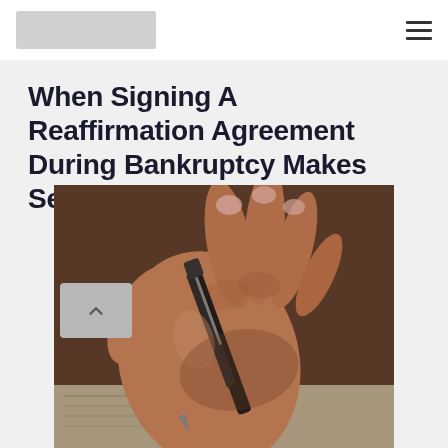[Logo placeholder] [Hamburger menu]
When Signing A Reaffirmation Agreement During Bankruptcy Makes Sense
[Figure (photo): Close-up photograph of a hand holding a pen, signing a document.]